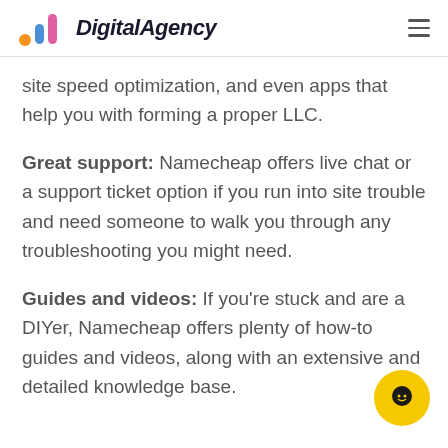DigitalAgency
site speed optimization, and even apps that help you with forming a proper LLC.
Great support: Namecheap offers live chat or a support ticket option if you run into site trouble and need someone to walk you through any troubleshooting you might need.
Guides and videos: If you’re stuck and are a DIYer, Namecheap offers plenty of how-to guides and videos, along with an extensive and detailed knowledge base.